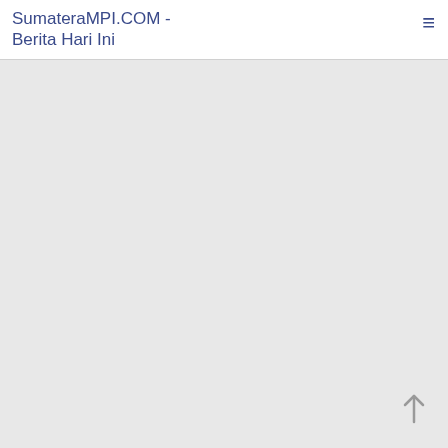SumateraMPI.COM - Berita Hari Ini